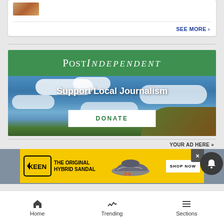[Figure (screenshot): Top of white card with small thumbnail image of wood/brown surface, SEE MORE link with arrow]
SEE MORE ›
[Figure (illustration): Post Independent newspaper banner advertisement. Green header with PostIndependent logo in white serif font. Below, a sky/landscape photo with 'Support Local Journalism' text and a DONATE button.]
YOUR AD HERE »
[Figure (illustration): KEEN shoes advertisement banner on yellow background: KEEN logo, 'THE ORIGINAL HYBRID SANDAL' text, shoe image, SHOP NOW button]
Home   Trending   Sections